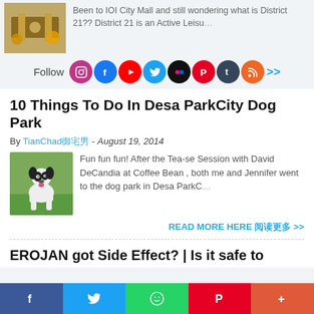Been to IOI City Mall and still wondering what is District 21?? District 21 is an Active Leisu…
[Figure (other): Social media follow bar with icons: Instagram, Facebook, YouTube, Twitter, Flickr, Pinterest, Tumblr, RSS, and more arrows]
10 Things To Do In Desa ParkCity Dog Park
By TianChad御宅男 - August 19, 2014
[Figure (photo): Photo of a small black and white dog (French Bulldog) running on grass]
Fun fun fun! After the  Tea-se Session with David DeCandia at Coffee Bean , both me and Jennifer went to the dog park in Desa ParkC…
READ MORE HERE 阅读更多 >>
EROJAN got Side Effect? | Is it safe to
[Figure (other): Bottom social share bar with Facebook, Twitter, WhatsApp, Pinterest, More buttons]